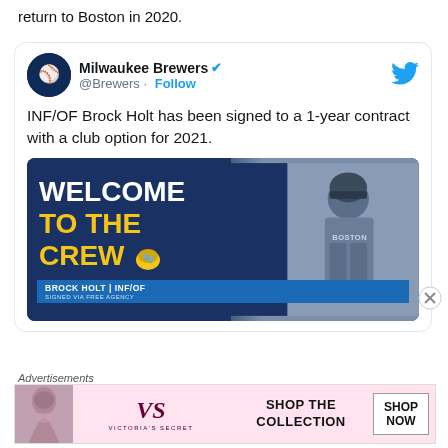return to Boston in 2020.
[Figure (screenshot): Embedded tweet from Milwaukee Brewers (@Brewers) with verified checkmark and Follow button, announcing that INF/OF Brock Holt has been signed to a 1-year contract with a club option for 2021, accompanied by a blue promotional image with WELCOME TO THE CREW text and a photo of a player in a Boston uniform.]
Advertisements
[Figure (photo): Victoria's Secret advertisement banner with a model photo on the left, VS logo in the center, and SHOP THE COLLECTION text with a SHOP NOW button on the right, on a pink background.]